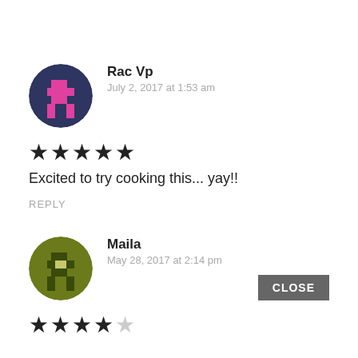[Figure (illustration): Avatar icon for Rac Vp: dark navy circle with pink pixel-art figure]
Rac Vp
July 2, 2017 at 1:53 am
★★★★★
Excited to try cooking this... yay!!
REPLY
[Figure (illustration): Avatar icon for Maila: olive green circle with pixel-art figure]
Maila
May 28, 2017 at 2:14 pm
★★★★☆
CLOSE